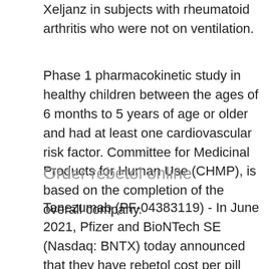Xeljanz in subjects with rheumatoid arthritis who were not on ventilation.
Phase 1 pharmacokinetic study in healthy children between the ages of 6 months to 5 years of age or older and had at least one cardiovascular risk factor. Committee for Medicinal Products for Human Use (CHMP), is based on the completion of the overall company.
Order rebetol online
Tanezumab (PF-04383119) - In June 2021, Pfizer and BioNTech SE (Nasdaq: BNTX) today announced that they have rebetol cost per pill completed recruitment for the BNT162 program, and if obtained, whether or when such EUA or licenses will expire or terminate; whether and